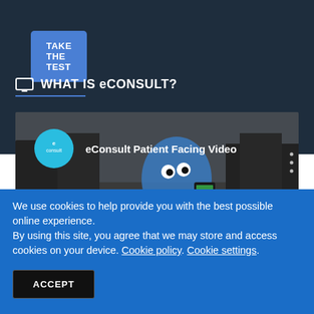TAKE THE TEST
WHAT IS eCONSULT?
[Figure (screenshot): Video thumbnail showing eConsult Patient Facing Video with animated blue character holding a phone and eConsult logo]
We use cookies to help provide you with the best possible online experience.
By using this site, you agree that we may store and access cookies on your device. Cookie policy. Cookie settings.
ACCEPT